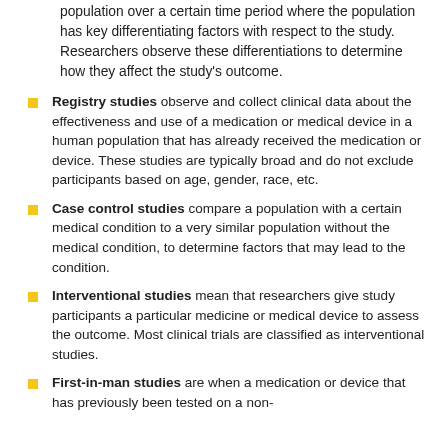population over a certain time period where the population has key differentiating factors with respect to the study. Researchers observe these differentiations to determine how they affect the study's outcome.
Registry studies observe and collect clinical data about the effectiveness and use of a medication or medical device in a human population that has already received the medication or device. These studies are typically broad and do not exclude participants based on age, gender, race, etc.
Case control studies compare a population with a certain medical condition to a very similar population without the medical condition, to determine factors that may lead to the condition.
Interventional studies mean that researchers give study participants a particular medicine or medical device to assess the outcome. Most clinical trials are classified as interventional studies.
First-in-man studies are when a medication or device that has previously been tested on a non-